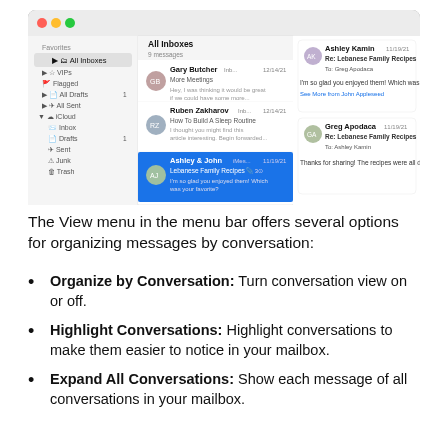[Figure (screenshot): Screenshot of macOS Mail app showing All Inboxes with conversation view. Left panel shows mailbox list (All Inboxes, VIPs, Flagged, All Drafts, All Sent, iCloud, Inbox, Drafts, Sent, Junk, Trash). Middle panel shows email list with messages from Gary Butcher (More Meetings, 12/14/21), Ruben Zakharov (How To Build A Sleep Routine, 12/14/21), Ashley & John - Lebanese Family Recipes (selected, highlighted blue, 11/19/21), Christina Ahmed (Re: Now hiking spot, 6/18/20). Right panel shows conversation thread between Ashley Kamin and Greg Apodaca about Lebanese Family Recipes.]
The View menu in the menu bar offers several options for organizing messages by conversation:
Organize by Conversation: Turn conversation view on or off.
Highlight Conversations: Highlight conversations to make them easier to notice in your mailbox.
Expand All Conversations: Show each message of all conversations in your mailbox.